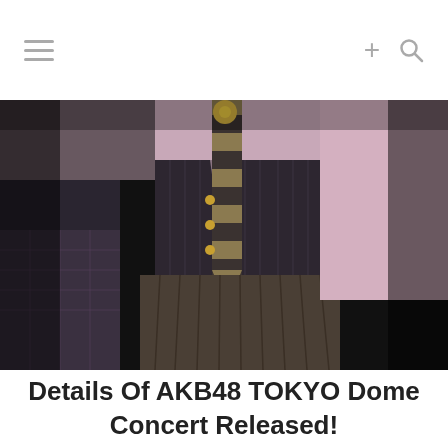≡  +  🔍
[Figure (photo): Close-up photo of AKB48 performers on stage wearing dark pinstripe vests with gold buttons, striped ties, and pleated skirts. The background is black. Two performers are visible.]
Details Of AKB48 TOKYO Dome Concert Released!